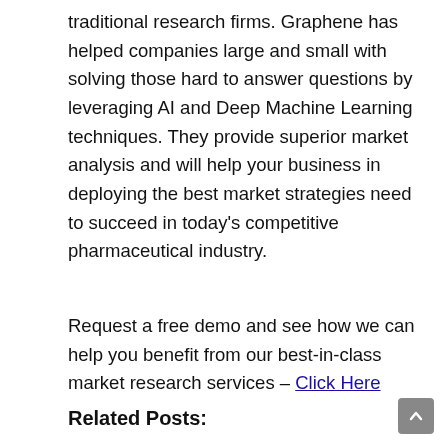traditional research firms. Graphene has helped companies large and small with solving those hard to answer questions by leveraging AI and Deep Machine Learning techniques. They provide superior market analysis and will help your business in deploying the best market strategies need to succeed in today's competitive pharmaceutical industry.
Request a free demo and see how we can help you benefit from our best-in-class market research services – Click Here
Related Posts: